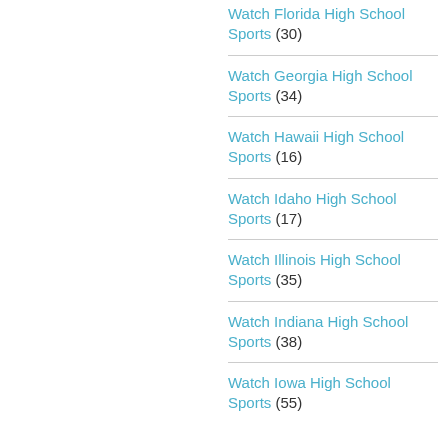Watch Florida High School Sports (30)
Watch Georgia High School Sports (34)
Watch Hawaii High School Sports (16)
Watch Idaho High School Sports (17)
Watch Illinois High School Sports (35)
Watch Indiana High School Sports (38)
Watch Iowa High School Sports (55)